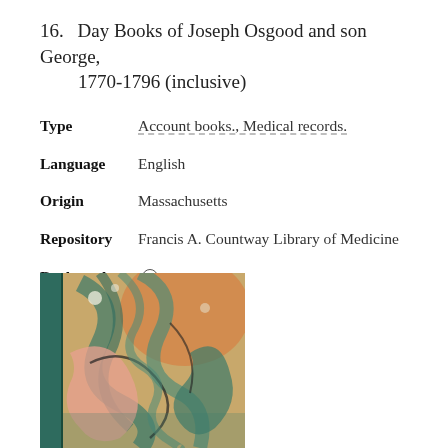16. Day Books of Joseph Osgood and son George, 1770-1796 (inclusive)
Type: Account books., Medical records.
Language: English
Origin: Massachusetts
Repository: Francis A. Countway Library of Medicine
Bookmark
[Figure (photo): Photograph of a marbled book cover with swirling patterns in green, pink, orange, and black on a teal background.]